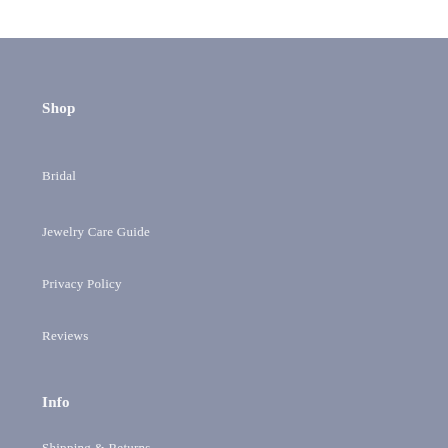Shop
Bridal
Jewelry Care Guide
Privacy Policy
Reviews
Info
Shipping & Returns
HN Diaries